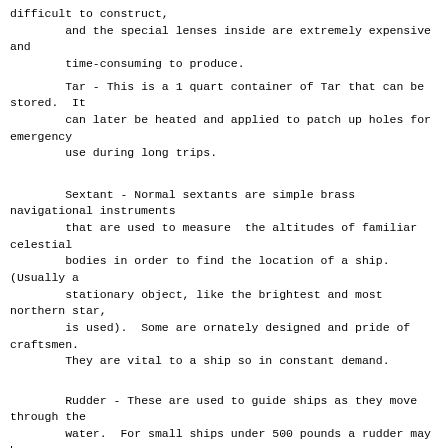difficult to construct,
        and the special lenses inside are extremely expensive and
        time-consuming to produce.
Tar - This is a 1 quart container of Tar that can be stored.  It
        can later be heated and applied to patch up holes for emergency
        use during long trips.
Sextant - Normal sextants are simple brass navigational instruments
        that are used to measure  the altitudes of familiar celestial
        bodies in order to find the location of a ship. (Usually a
        stationary object, like the brightest and most  northern star,
        is used).  Some are ornately designed and pride of craftsmen.
        They are vital to a ship so in constant demand.
Rudder - These are used to guide ships as they move through the
        water.  For small ships under 500 pounds a rudder may be
        so small as a simple oar or as large as to